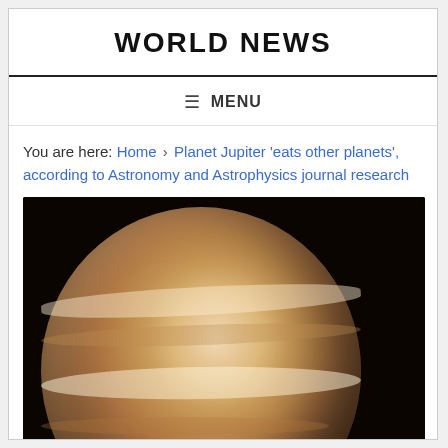WORLD NEWS
≡  MENU
You are here: Home › Planet Jupiter 'eats other planets', according to Astronomy and Astrophysics journal research
[Figure (photo): Close-up photograph of planet Jupiter showing its characteristic banded cloud patterns in shades of orange, tan, cream and brown against a dark black space background.]